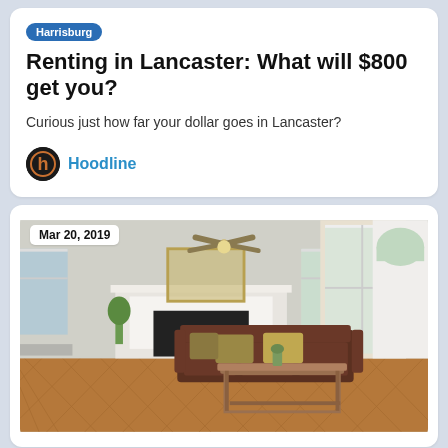Harrisburg
Renting in Lancaster: What will $800 get you?
Curious just how far your dollar goes in Lancaster?
Hoodline
Mar 20, 2019
[Figure (photo): Interior living room photo showing hardwood parquet floors, white fireplace, brown leather sofa with pillows, ceiling fan, French doors, and windows with natural light.]